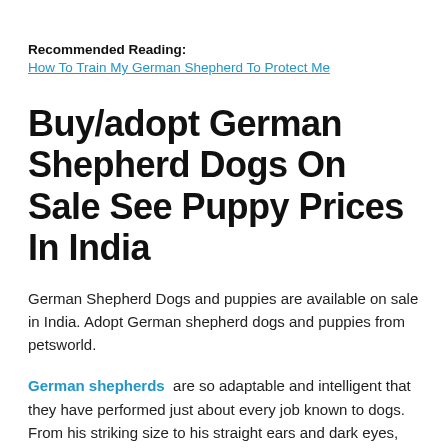Recommended Reading:
How To Train My German Shepherd To Protect Me
Buy/adopt German Shepherd Dogs On Sale See Puppy Prices In India
German Shepherd Dogs and puppies are available on sale in India. Adopt German shepherd dogs and puppies from petsworld.
German shepherds  are so adaptable and intelligent that they have performed just about every job known to dogs. From his striking size to his straight ears and dark eyes, this breed